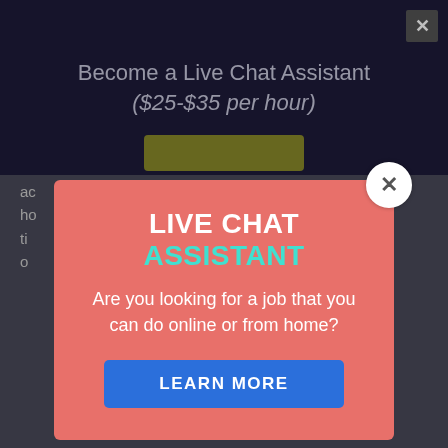Become a Live Chat Assistant ($25-$35 per hour)
ac ho ti o
M no en online job websites where you can get a job and start earning.
Freedom
[Figure (screenshot): Modal popup dialog with salmon/coral background. Title reads 'LIVE CHAT ASSISTANT' with 'LIVE CHAT' in white bold and 'ASSISTANT' in teal/turquoise. Body text: 'Are you looking for a job that you can do online or from home?' Blue 'LEARN MORE' button. White circle close button with X in top-right corner of modal.]